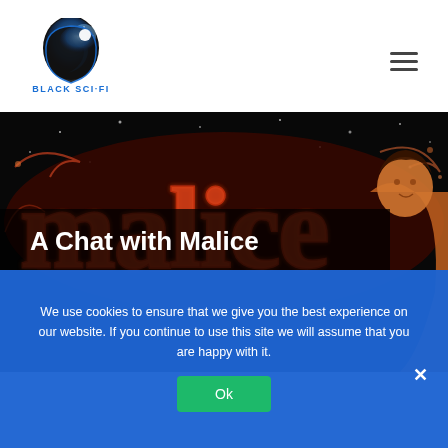[Figure (logo): Black Sci-Fi logo: blue glowing head with stars and 'BLACK SCI-FI' text below]
[Figure (photo): Hero banner image showing stylized decorative text reading 'malice' in red/orange letters on a black background, with an illustrated figure on the right]
A Chat with Malice
We use cookies to ensure that we give you the best experience on our website. If you continue to use this site we will assume that you are happy with it.
Ok